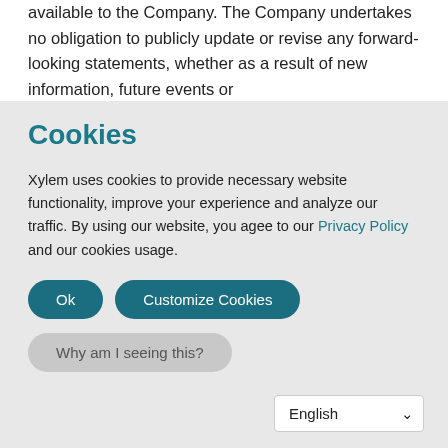available to the Company. The Company undertakes no obligation to publicly update or revise any forward-looking statements, whether as a result of new information, future events or
Cookies
Xylem uses cookies to provide necessary website functionality, improve your experience and analyze our traffic. By using our website, you agee to our Privacy Policy and our cookies usage.
Ok
Customize Cookies
Why am I seeing this?
English